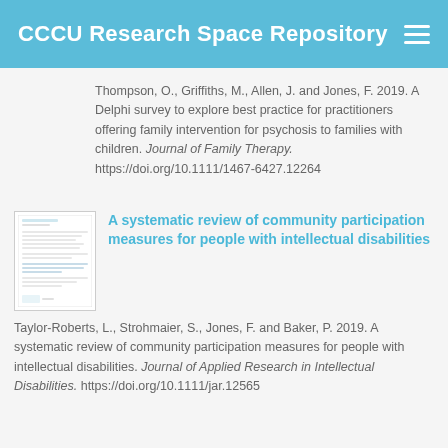CCCU Research Space Repository
Thompson, O., Griffiths, M., Allen, J. and Jones, F. 2019. A Delphi survey to explore best practice for practitioners offering family intervention for psychosis to families with children. Journal of Family Therapy. https://doi.org/10.1111/1467-6427.12264
[Figure (other): Thumbnail image of a journal article document]
A systematic review of community participation measures for people with intellectual disabilities
Taylor-Roberts, L., Strohmaier, S., Jones, F. and Baker, P. 2019. A systematic review of community participation measures for people with intellectual disabilities. Journal of Applied Research in Intellectual Disabilities. https://doi.org/10.1111/jar.12565